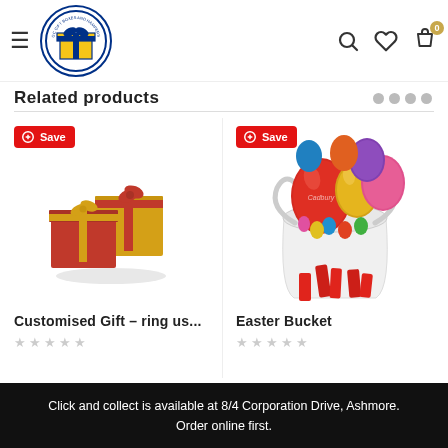[Figure (logo): GC Gift Boxes and Hampers circular logo with gift box icon and tagline]
Related products
[Figure (photo): Red and gold wrapped gift boxes with bow — Customised Gift product image with Save badge]
[Figure (photo): Easter bucket filled with colorful foil-wrapped chocolate Easter eggs and red ribbon — Easter Bucket product image with Save badge]
Customised Gift – ring us...
Easter Bucket
Click and collect is available at 8/4 Corporation Drive, Ashmore. Order online first.